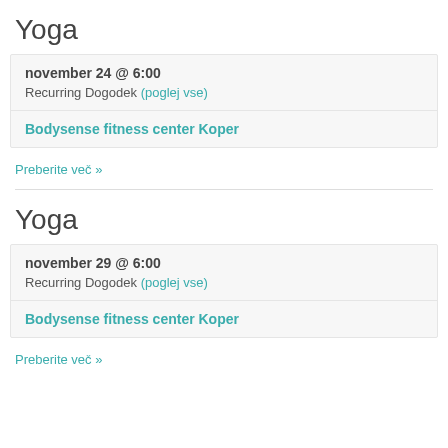Yoga
november 24 @ 6:00
Recurring Dogodek (poglej vse)
Bodysense fitness center Koper
Preberite več »
Yoga
november 29 @ 6:00
Recurring Dogodek (poglej vse)
Bodysense fitness center Koper
Preberite več »